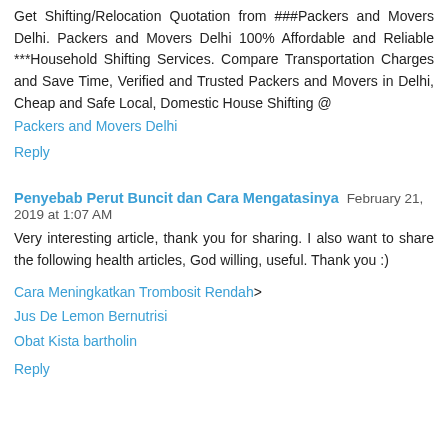Get Shifting/Relocation Quotation from ###Packers and Movers Delhi. Packers and Movers Delhi 100% Affordable and Reliable ***Household Shifting Services. Compare Transportation Charges and Save Time, Verified and Trusted Packers and Movers in Delhi, Cheap and Safe Local, Domestic House Shifting @
Packers and Movers Delhi
Reply
Penyebab Perut Buncit dan Cara Mengatasinya  February 21, 2019 at 1:07 AM
Very interesting article, thank you for sharing. I also want to share the following health articles, God willing, useful. Thank you :)
Cara Meningkatkan Trombosit Rendah>
Jus De Lemon Bernutrisi
Obat Kista bartholin
Reply